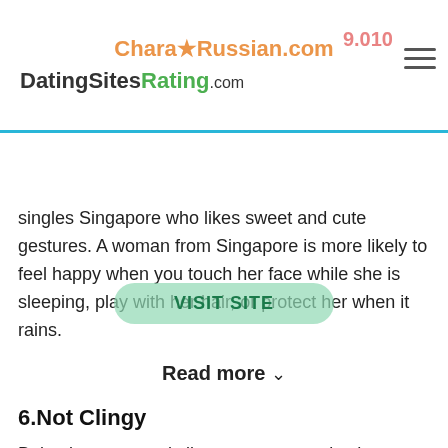CharamRussian.com | DatingSitesRating.com
singles Singapore who likes sweet and cute gestures. A woman from Singapore is more likely to feel happy when you touch her face while she is sleeping, play with her hair, or protect her when it rains.
Read more ∨
6.Not Clingy
Being insecure and clingy are some traits that many women tend to have, and Singaporean women are no exception. However, most Singaporean girls are not as clingy and insecure